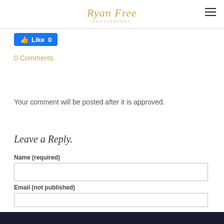Ryan Free Photography
[Figure (logo): Ryan Free Photography handwritten/signature logo in gold with PHOTOGRAPHY subtitle text]
Like 0
0 Comments
Your comment will be posted after it is approved.
Leave a Reply.
Name (required)
Email (not published)